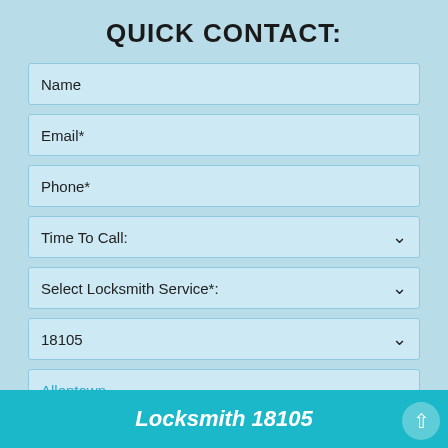QUICK CONTACT:
Name
Email*
Phone*
Time To Call:
Select Locksmith Service*:
18105
Allentown
SEND
Locksmith 18105